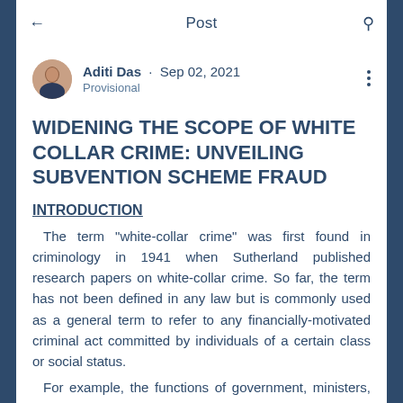Post
Aditi Das · Sep 02, 2021
Provisional
WIDENING THE SCOPE OF WHITE COLLAR CRIME: UNVEILING SUBVENTION SCHEME FRAUD
INTRODUCTION
The term "white-collar crime" was first found in criminology in 1941 when Sutherland published research papers on white-collar crime. So far, the term has not been defined in any law but is commonly used as a general term to refer to any financially-motivated criminal act committed by individuals of a certain class or social status.
For example, the functions of government, ministers, CEOs of large cooperatives - people in decision-making